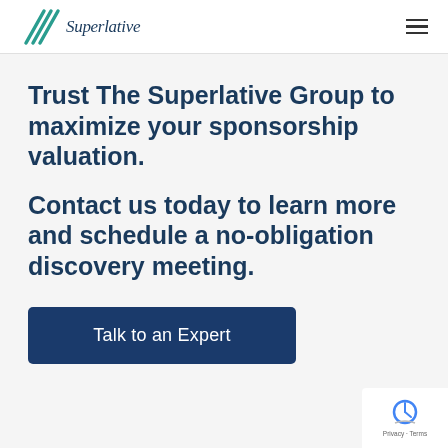[Figure (logo): Superlative Group logo with teal chevron/swoosh mark and italic serif wordmark 'Superlative']
Trust The Superlative Group to maximize your sponsorship valuation.
Contact us today to learn more and schedule a no-obligation discovery meeting.
Talk to an Expert